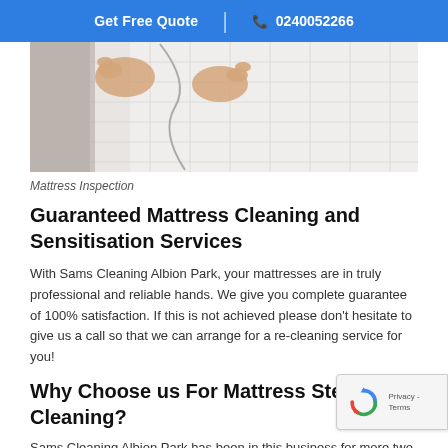Get Free Quote | 0240052266
[Figure (photo): Hands unzipping a white mattress cover/protector on a bed]
Mattress Inspection
Guaranteed Mattress Cleaning and Sensitisation Services
With Sams Cleaning Albion Park, your mattresses are in truly professional and reliable hands. We give you complete guarantee of 100% satisfaction. If this is not achieved please don't hesitate to give us a call so that we can arrange for a re-cleaning service for you!
Why Choose us For Mattress Steam Cleaning?
Sams Cleaning Albion Park has been in this business for more two decades and our rapport with our customers is based on the